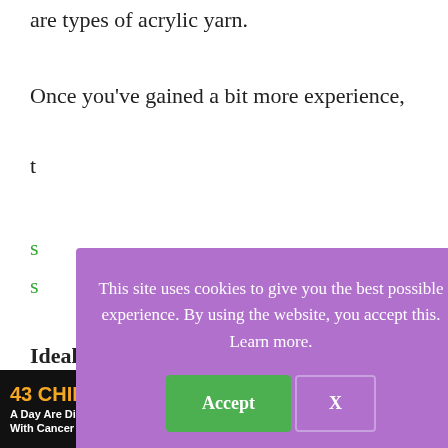are types of acrylic yarn.
Once you've gained a bit more experience, t...
s...
s...
[Figure (screenshot): Cookie consent overlay with purple background. Text: 'This site uses cookies to give you the best possible experience. By using the website, you accept this. Learn more.' Two buttons: green 'Accept' and outlined 'X'.]
Ideal for: Beginners Knitters attempting their first projects like scarves. 100% acrylic is the type of yarn for yarn braids.
[Figure (screenshot): Advertisement banner at bottom: '43 CHILDREN A Day Are Diagnosed With Cancer in the U.S.' with cookies for kids' cancer logo and 'Let's Get Baking' text on brown background.]